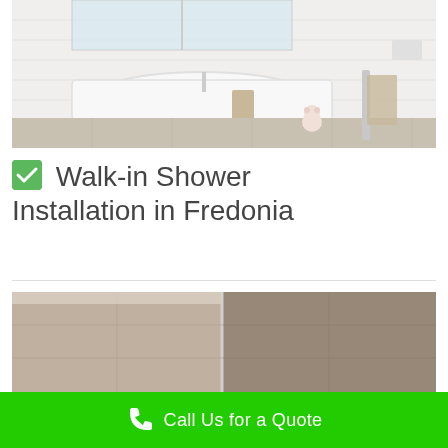[Figure (photo): Modern bathroom with freestanding white bathtub, white subway tile walls, marble tile floor, a small teddy bear sitting on the floor, and a towel rack. Bright natural light from a window.]
✅ Walk-in Shower Installation in Fredonia
[Figure (photo): Partial view of a walk-in shower installation with marble/stone tile walls and glass panel.]
Call Us for a Quote